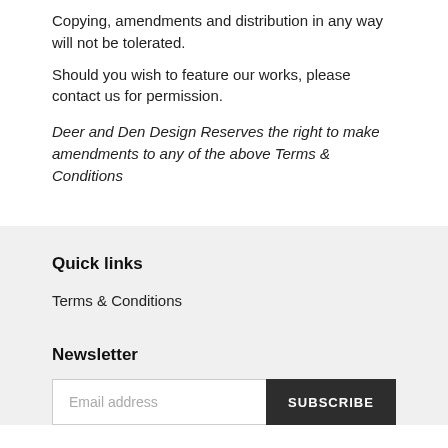Copying, amendments and distribution in any way will not be tolerated.
Should you wish to feature our works, please contact us for permission.
Deer and Den Design Reserves the right to make amendments to any of the above Terms & Conditions
Quick links
Terms & Conditions
Newsletter
Email address
SUBSCRIBE